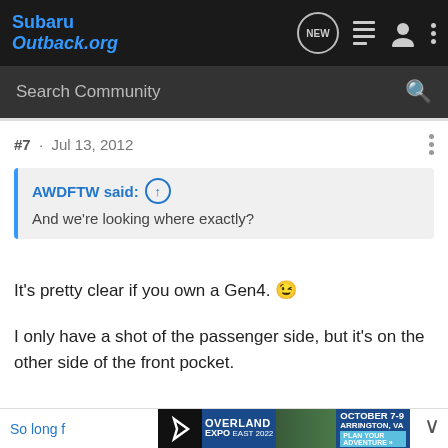SubaruOutback.org
Search Community
#7 · Jul 13, 2012
AWDFTW said: ↑
And we're looking where exactly?
It's pretty clear if you own a Gen4. 😉
I only have a shot of the passenger side, but it's on the other side of the front pocket.
So long f...
[Figure (screenshot): Overland Expo East 2022 advertisement banner: October 7-9, Arrington, VA. Plan Your Adventure.]